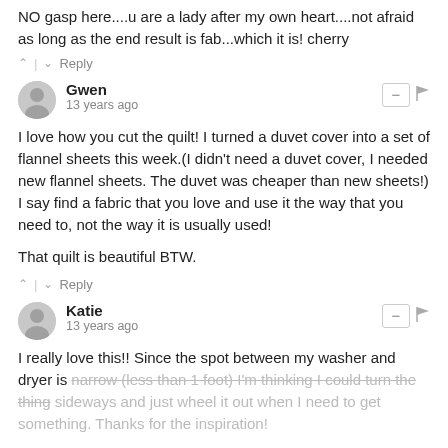NO gasp here....u are a lady after my own heart....not afraid as long as the end result is fab...which it is! cherry
^ | v Reply
Gwen
13 years ago
I love how you cut the quilt! I turned a duvet cover into a set of flannel sheets this week.(I didn't need a duvet cover, I needed new flannel sheets. The duvet was cheaper than new sheets!) I say find a fabric that you love and use it the way that you need to, not the way it is usually used!

That quilt is beautiful BTW.
^ | v Reply
Katie
13 years ago
I really love this!! Since the spot between my washer and dryer is narrow (less than 1 foot) I'm thinking I could turn the thing sideways and just wheel it out when I need to get something. Thanks for the inspiration!